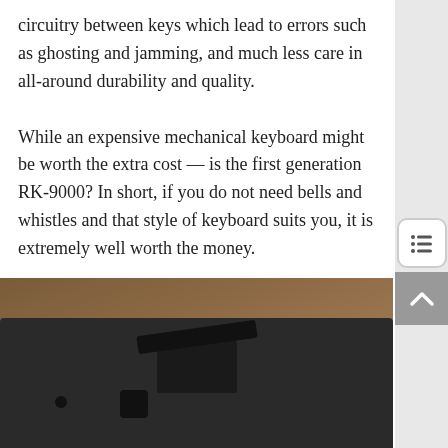circuitry between keys which lead to errors such as ghosting and jamming, and much less care in all-around durability and quality.

While an expensive mechanical keyboard might be worth the extra cost — is the first generation RK-9000? In short, if you do not need bells and whistles and that style of keyboard suits you, it is extremely well worth the money.
[Figure (photo): Close-up photo of the underside/back of a black mechanical keyboard (RK-9000), showing a fold-out stand/leg mechanism, on a wooden surface]